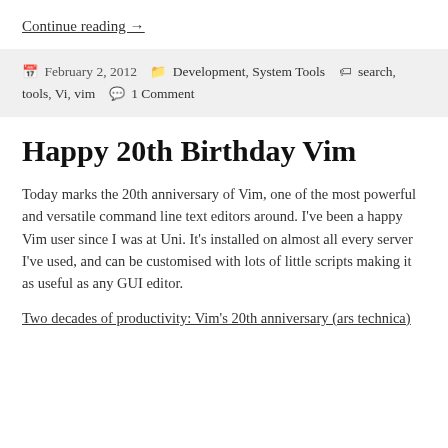Continue reading →
February 2, 2012   Development, System Tools   search, tools, Vi, vim   1 Comment
Happy 20th Birthday Vim
Today marks the 20th anniversary of Vim, one of the most powerful and versatile command line text editors around. I've been a happy Vim user since I was at Uni. It's installed on almost all every server I've used, and can be customised with lots of little scripts making it as useful as any GUI editor.
Two decades of productivity: Vim's 20th anniversary (ars technica)